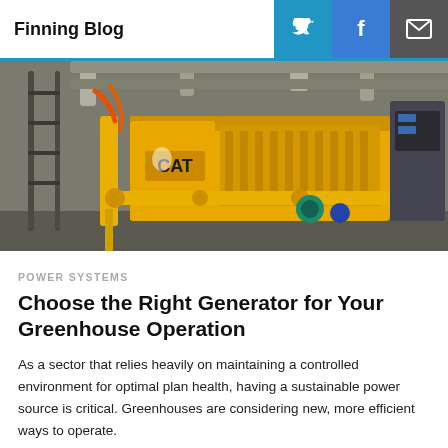Finning Blog
[Figure (photo): Industrial CAT generator system with yellow pipes and machinery inside a building]
POWER SYSTEMS
Choose the Right Generator for Your Greenhouse Operation
As a sector that relies heavily on maintaining a controlled environment for optimal plan health, having a sustainable power source is critical. Greenhouses are considering new, more efficient ways to operate.
2 MIN READ